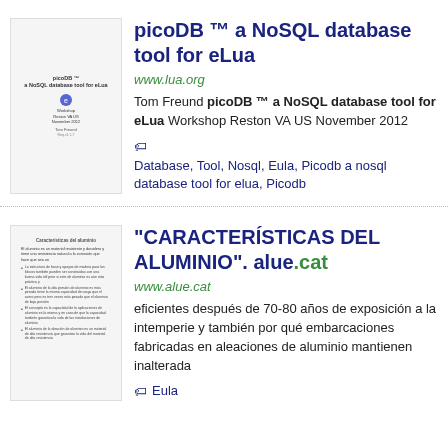[Figure (screenshot): Thumbnail of picoDB document cover page]
picoDB ™ a NoSQL database tool for eLua
www.lua.org
Tom Freund picoDB ™ a NoSQL database tool for eLua Workshop Reston VA US November 2012
Database, Tool, Nosql, Eula, Picodb a nosql database tool for elua, Picodb
[Figure (screenshot): Thumbnail of Características del Aluminio document]
"CARACTERÍSTICAS DEL ALUMINIO". alue.cat
www.alue.cat
eficientes después de 70-80 años de exposición a la intemperie y también por qué embarcaciones fabricadas en aleaciones de aluminio mantienen inalterada
Eula